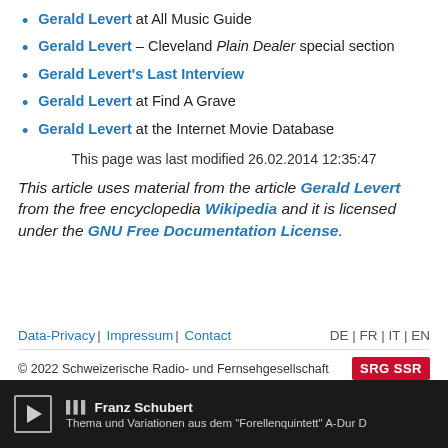Gerald Levert at All Music Guide
Gerald Levert – Cleveland Plain Dealer special section
Gerald Levert's Last Interview
Gerald Levert at Find A Grave
Gerald Levert at the Internet Movie Database
This page was last modified 26.02.2014 12:35:47
This article uses material from the article Gerald Levert from the free encyclopedia Wikipedia and it is licensed under the GNU Free Documentation License.
Data-Privacy | Impressum | Contact   DE | FR | IT | EN   © 2022 Schweizerische Radio- und Fernsehgesellschaft   SRG SSR
Franz Schubert  Thema und Variationen aus dem "Forellenquintett" A-Dur D